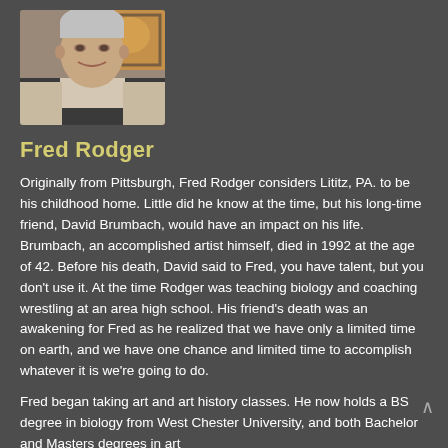[Figure (photo): Headshot photo of Fred Rodger, a smiling middle-aged man with gray hair, wearing a light-colored jacket over a dark shirt, with a painting visible in the background.]
Fred Rodger
Originally from Pittsburgh, Fred Rodger considers Lititz, PA. to be his childhood home. Little did he know at the time, but his long-time friend, David Brumbach, would have an impact on his life. Brumbach, an accomplished artist himself, died in 1992 at the age of 42. Before his death, David said to Fred, you have talent, but you don't use it. At the time Rodger was teaching biology and coaching wrestling at an area high school. His friend's death was an awakening for Fred as he realized that we have only a limited time on earth, and we have one chance and limited time to accomplish whatever it is we're going to do.
Fred began taking art and art history classes. He now holds a BS degree in biology from West Chester University, and both Bachelor and Masters degrees in art